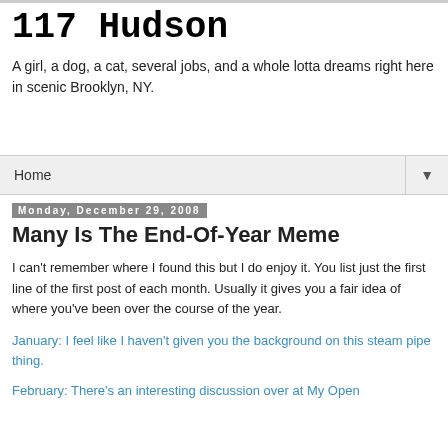117 Hudson
A girl, a dog, a cat, several jobs, and a whole lotta dreams right here in scenic Brooklyn, NY.
Home ▼
Monday, December 29, 2008
Many Is The End-Of-Year Meme
I can't remember where I found this but I do enjoy it. You list just the first line of the first post of each month. Usually it gives you a fair idea of where you've been over the course of the year.
January: I feel like I haven't given you the background on this steam pipe thing.
February: There's an interesting discussion over at My Open